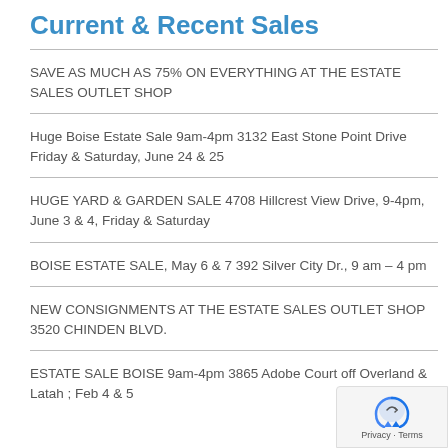Current & Recent Sales
SAVE AS MUCH AS 75% ON EVERYTHING AT THE ESTATE SALES OUTLET SHOP
Huge Boise Estate Sale 9am-4pm 3132 East Stone Point Drive Friday & Saturday, June 24 & 25
HUGE YARD & GARDEN SALE 4708 Hillcrest View Drive, 9-4pm, June 3 & 4, Friday & Saturday
BOISE ESTATE SALE, May 6 & 7 392 Silver City Dr., 9 am – 4 pm
NEW CONSIGNMENTS AT THE ESTATE SALES OUTLET SHOP 3520 CHINDEN BLVD.
ESTATE SALE BOISE 9am-4pm 3865 Adobe Court off Overland & Latah ; Feb 4 & 5